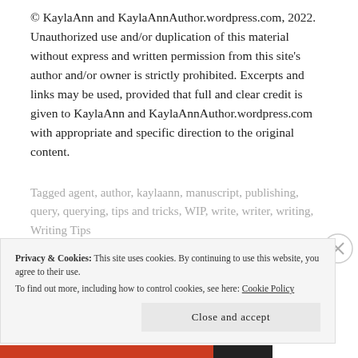© KaylaAnn and KaylaAnnAuthor.wordpress.com, 2022. Unauthorized use and/or duplication of this material without express and written permission from this site's author and/or owner is strictly prohibited. Excerpts and links may be used, provided that full and clear credit is given to KaylaAnn and KaylaAnnAuthor.wordpress.com with appropriate and specific direction to the original content.
Tagged agent, author, kaylaann, manuscript, publishing, query, querying, tips and tricks, WIP, write, writer, writing, Writing Tips
Privacy & Cookies: This site uses cookies. By continuing to use this website, you agree to their use.
To find out more, including how to control cookies, see here: Cookie Policy
Close and accept